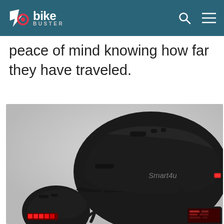ebike BUSTER
peace of mind knowing how far they have traveled.
[Figure (photo): A black Smart4u bicycle/e-bike helmet shown from the side profile on a gray background, with chin straps visible and a small red rear light. A second smaller helmet and a smartphone are partially visible in the lower portion of the image.]